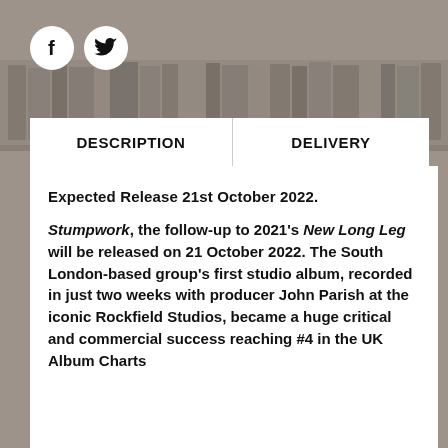[Figure (other): Social media icons: Facebook (f) and Twitter (bird) as white circles on grey bookshelf background]
DESCRIPTION
DELIVERY
Expected Release 21st October 2022.
Stumpwork, the follow-up to 2021's New Long Leg will be released on 21 October 2022. The South London-based group's first studio album, recorded in just two weeks with producer John Parish at the iconic Rockfield Studios, became a huge critical and commercial success reaching #4 in the UK Album Charts